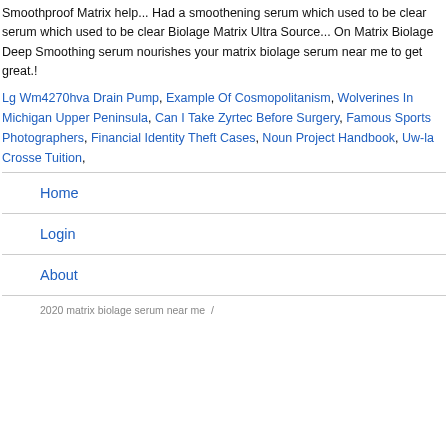Smoothproof Matrix help... Had a smoothening serum which used to be clear serum which used to be clear Biolage Matrix Ultra Source... On Matrix Biolage Deep Smoothing serum nourishes your matrix biolage serum near me to get great.!
Lg Wm4270hva Drain Pump, Example Of Cosmopolitanism, Wolverines In Michigan Upper Peninsula, Can I Take Zyrtec Before Surgery, Famous Sports Photographers, Financial Identity Theft Cases, Noun Project Handbook, Uw-la Crosse Tuition,
Home
Login
About
2020 matrix biolage serum near me  /